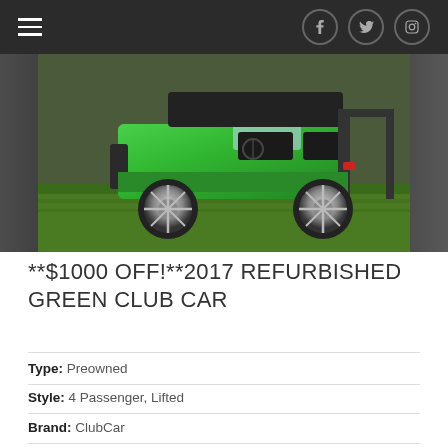Navigation bar with hamburger menu and social icons (Facebook, Twitter, Instagram)
[Figure (photo): Green refurbished Club Car golf cart with chrome wheels, lifted suspension, photographed outdoors on grass]
**$1000 OFF!**2017 REFURBISHED GREEN CLUB CAR
Type: Preowned
Style: 4 Passenger, Lifted
Brand: ClubCar
Location: Rosehill